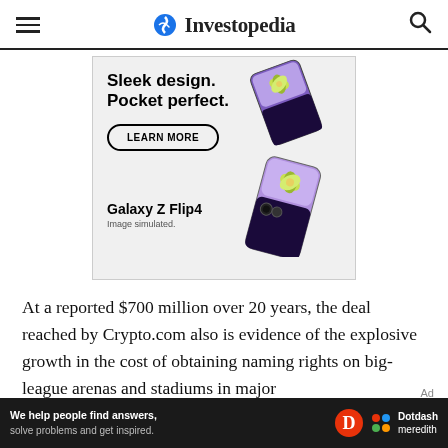Investopedia
[Figure (photo): Samsung Galaxy Z Flip4 advertisement banner showing 'Sleek design. Pocket perfect.' with LEARN MORE button and two Galaxy Z Flip4 phones in purple/lavender color. Text at bottom: 'Galaxy Z Flip4' and 'Image simulated.']
At a reported $700 million over 20 years, the deal reached by Crypto.com also is evidence of the explosive growth in the cost of obtaining naming rights on big-league arenas and stadiums in major
[Figure (logo): Dotdash Meredith dark bottom bar: 'We help people find answers, solve problems and get inspired.' with D logo and Dotdash meredith colorful logo]